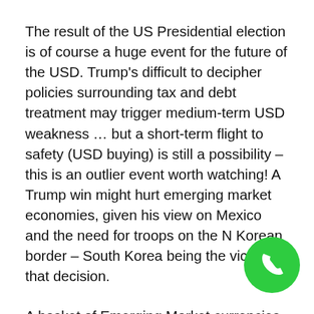The result of the US Presidential election is of course a huge event for the future of the USD. Trump's difficult to decipher policies surrounding tax and debt treatment may trigger medium-term USD weakness … but a short-term flight to safety (USD buying) is still a possibility – this is an outlier event worth watching! A Trump win might hurt emerging market economies, given his view on Mexico and the need for troops on the N Korean border – South Korea being the victim of that decision.
A basket of Emerging Market currencies shows a 17% climb this year, so the market feels positioned for a 'stable' Clinton win, but all scope for a big down-move. Whilst Clinton's